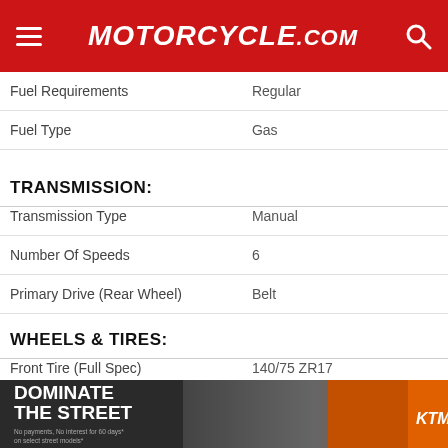Motorcycle.com
| Specification | Value |
| --- | --- |
| Fuel Requirements | Regular |
| Fuel Type | Gas |
TRANSMISSION:
| Specification | Value |
| --- | --- |
| Transmission Type | Manual |
| Number Of Speeds | 6 |
| Primary Drive (Rear Wheel) | Belt |
WHEELS & TIRES:
| Specification | Value |
| --- | --- |
| Front Tire (Full Spec) | 140/75 ZR17 |
| Rear Tire (Full Spec) | 200/50 ZR17 75W |
BRAKES:
[Figure (infographic): KTM advertisement banner: 'DOMINATE THE STREET' with motorcycle imagery and KTM logo]